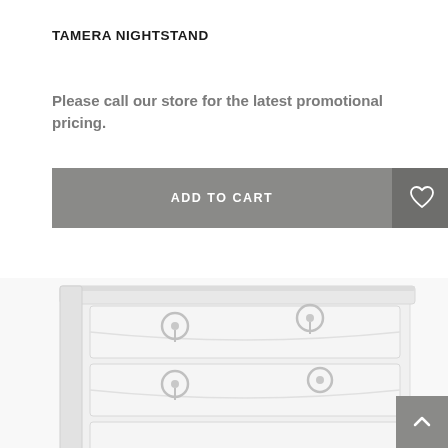TAMERA NIGHTSTAND
Please call our store for the latest promotional pricing.
[Figure (screenshot): Add to Cart button bar with heart/wishlist icon on right, gray background]
[Figure (photo): White dresser/nightstand with ring pulls on drawers, curved drawer fronts, photographed at an angle from above]